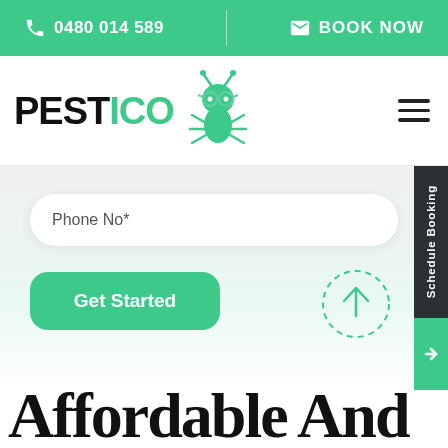0480 014 589 | BOOK NOW
[Figure (logo): PESTICO pest control logo with green ant mascot wearing glasses]
Phone No*
Get Started
Schedule Booking
Affordable And